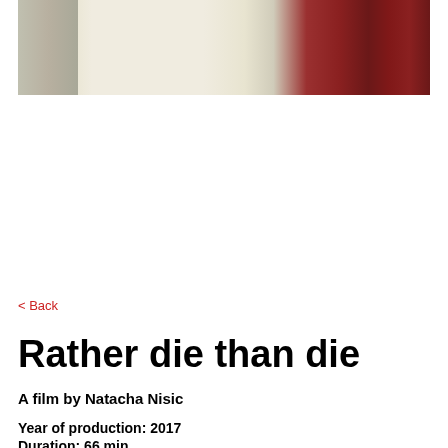[Figure (photo): A blurred/out-of-focus photograph showing a room interior with beige/cream walls and dark red/maroon elements, possibly a door frame or wall panel on the right side.]
< Back
Rather die than die
A film by Natacha Nisic
Year of production: 2017
Duration: 66 min.